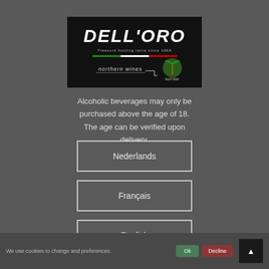[Figure (logo): Dell'Oro logo with 'Treasure hunting taste since 1968', Italian flag bar, northern wines and sol'dor branding on black background]
Alcoholic beverages may only be purchased above the age of 18. The age can be verified upon delivery.
Nederlands
Français
English
We use cookies to change and preferences.
Ok
Decline